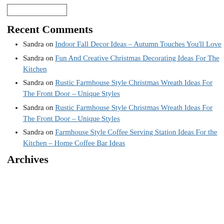Recent Comments
Sandra on Indoor Fall Decor Ideas – Autumn Touches You'll Love
Sandra on Fun And Creative Christmas Decorating Ideas For The Kitchen
Sandra on Rustic Farmhouse Style Christmas Wreath Ideas For The Front Door – Unique Styles
Sandra on Rustic Farmhouse Style Christmas Wreath Ideas For The Front Door – Unique Styles
Sandra on Farmhouse Style Coffee Serving Station Ideas For the Kitchen – Home Coffee Bar Ideas
Archives